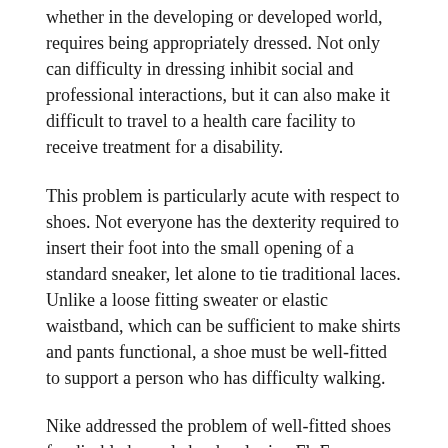whether in the developing or developed world, requires being appropriately dressed. Not only can difficulty in dressing inhibit social and professional interactions, but it can also make it difficult to travel to a health care facility to receive treatment for a disability.
This problem is particularly acute with respect to shoes. Not everyone has the dexterity required to insert their foot into the small opening of a standard sneaker, let alone to tie traditional laces. Unlike a loose fitting sweater or elastic waistband, which can be sufficient to make shirts and pants functional, a shoe must be well-fitted to support a person who has difficulty walking.
Nike addressed the problem of well-fitted shoes for disabled people by developing FlyEase technology, which incorporates a zipper that extends around the heel of the shoe. This allows the wearer to create a large opening in the back or side of the shoe, slide in his or her foot, and close and tighten the shoe, all with one